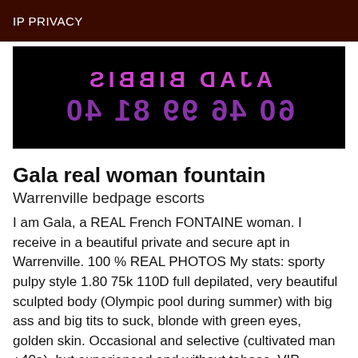IP PRIVACY
[Figure (photo): Black banner with mirrored/reversed purple text showing Arabic or stylized characters on two lines, resembling a phone number or name in reversed script]
Gala real woman fountain
Warrenville bedpage escorts
I am Gala, a REAL French FONTAINE woman. I receive in a beautiful private and secure apt in Warrenville. 100 % REAL PHOTOS My stats: sporty pulpy style 1.80 75k 110D full depilated, very beautiful sculpted body (Olympic pool during summer) with big ass and big tits to suck, blonde with green eyes, golden skin. Occasional and selective (cultivated man +40a), but experienced and without taboos. VIP services like abundant cyprine on latex sheets, u r o (donor and recipient), French Kiss, blowjob nature and unlimited intercourse + cuni, anilingus, faceitting, 69, Brazilian massage with oiled clito and so many other delights like * and fisting, again